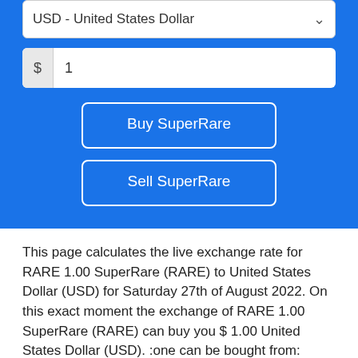USD - United States Dollar
$ 1
Buy SuperRare
Sell SuperRare
This page calculates the live exchange rate for RARE 1.00 SuperRare (RARE) to United States Dollar (USD) for Saturday 27th of August 2022. On this exact moment the exchange of RARE 1.00 SuperRare (RARE) can buy you $ 1.00 United States Dollar (USD). :one can be bought from: Binance, OKEX & Kucoin.
1 RARE = 1.000000 USD
1 USD = 1.000000 RARE